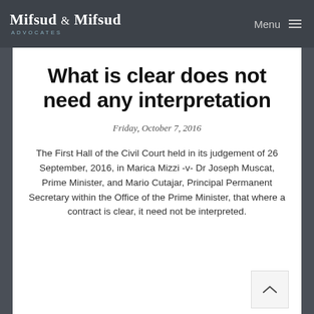Mifsud & Mifsud Advocates | Menu
What is clear does not need any interpretation
Friday, October 7, 2016
The First Hall of the Civil Court held in its judgement of 26 September, 2016, in Marica Mizzi -v- Dr Joseph Muscat, Prime Minister, and Mario Cutajar, Principal Permanent Secretary within the Office of the Prime Minister, that where a contract is clear, it need not be interpreted.